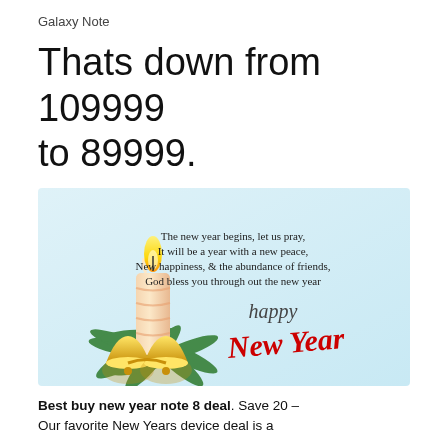Galaxy Note
Thats down from 109999 to 89999.
[Figure (illustration): Happy New Year greeting card with a lit candle, golden bells, pine branches, and text: 'The new year begins, let us pray, It will be a year with a new peace, New happiness, & the abundance of friends, God bless you through out the new year' and 'happy New Year' in decorative script on a light blue background.]
Best buy new year note 8 deal. Save 20 – Our favorite New Years device deal is a